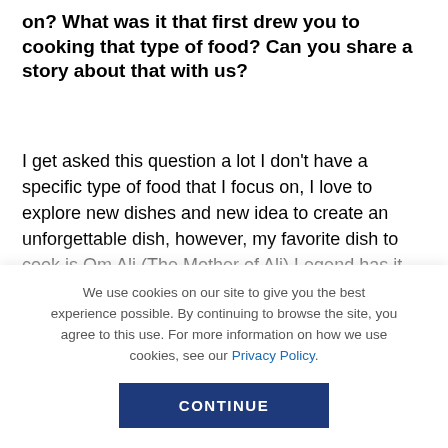on? What was it that first drew you to cooking that type of food? Can you share a story about that with us?
I get asked this question a lot I don't have a specific type of food that I focus on, I love to explore new dishes and new idea to create an unforgettable dish, however, my favorite dish to cook is Om Ali (The Mother of Ali) Legend has it that Om Ali is named after Sultan Ezz El-Din Aybak's wife, back in the 13th century. She made it for a victory celebration and distributed it
We use cookies on our site to give you the best experience possible. By continuing to browse the site, you agree to this use. For more information on how we use cookies, see our Privacy Policy.
CONTINUE